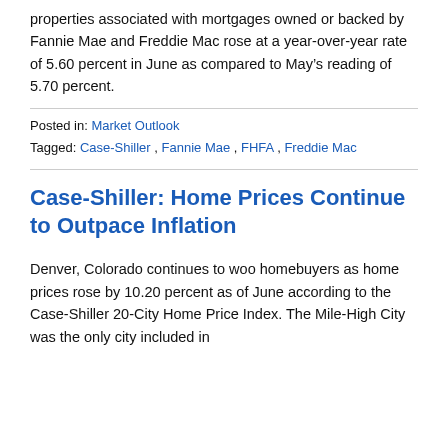properties associated with mortgages owned or backed by Fannie Mae and Freddie Mac rose at a year-over-year rate of 5.60 percent in June as compared to May’s reading of 5.70 percent.
Posted in: Market Outlook
Tagged: Case-Shiller , Fannie Mae , FHFA , Freddie Mac
Case-Shiller: Home Prices Continue to Outpace Inflation
Denver, Colorado continues to woo homebuyers as home prices rose by 10.20 percent as of June according to the Case-Shiller 20-City Home Price Index. The Mile-High City was the only city included in